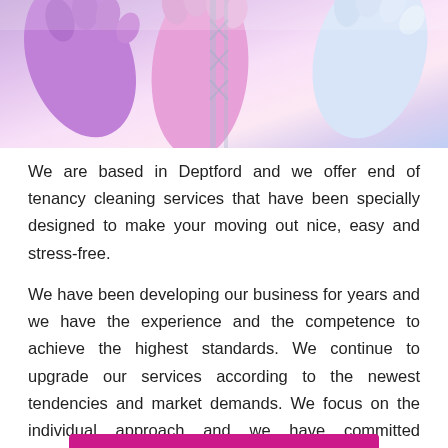[Figure (photo): Photo of colorful cleaning gloves (purple, pink, blue) against a light background with partial view of a structure.]
We are based in Deptford and we offer end of tenancy cleaning services that have been specially designed to make your moving out nice, easy and stress-free.
We have been developing our business for years and we have the experience and the competence to achieve the highest standards. We continue to upgrade our services according to the newest tendencies and market demands. We focus on the individual approach and we have committed ourselves to creating plans for each of our clients.
020 3745 6872